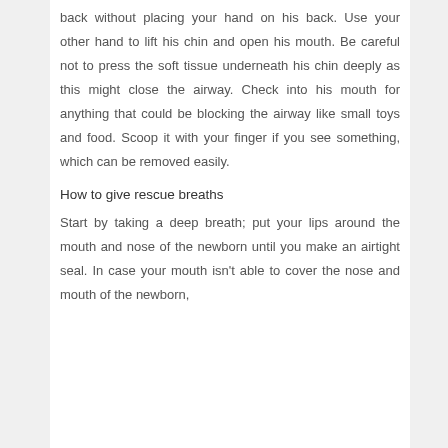back without placing your hand on his back. Use your other hand to lift his chin and open his mouth. Be careful not to press the soft tissue underneath his chin deeply as this might close the airway. Check into his mouth for anything that could be blocking the airway like small toys and food. Scoop it with your finger if you see something, which can be removed easily.
How to give rescue breaths
Start by taking a deep breath; put your lips around the mouth and nose of the newborn until you make an airtight seal. In case your mouth isn't able to cover the nose and mouth of the newborn,